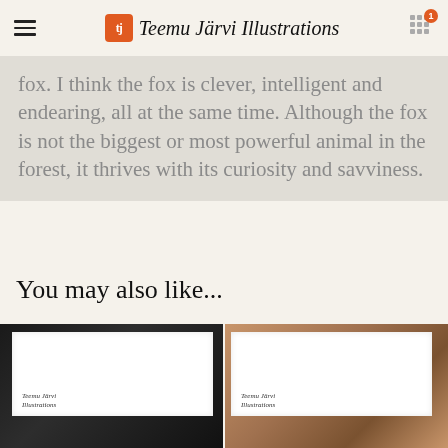Teemu Järvi Illustrations
fox. I think the fox is clever, intelligent and endearing, all at the same time. Although the fox is not the biggest or most powerful animal in the forest, it thrives with its curiosity and savviness.
You may also like...
[Figure (photo): Black framed Teemu Järvi Illustrations print, angled view showing white mat and black frame edge]
[Figure (photo): Walnut/wood framed Teemu Järvi Illustrations print, angled view showing white mat and layered wood frame edge]